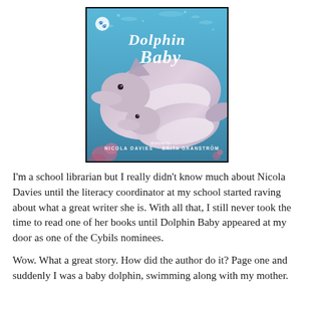[Figure (illustration): Book cover of 'Dolphin Baby' by Nicola Davies, illustrated by Brita Granstrom. Cover shows two dolphins (an adult and a baby) swimming together in blue water, with the title in white script lettering at the top and the authors' names at the bottom.]
I'm a school librarian but I really didn't know much about Nicola Davies until the literacy coordinator at my school started raving about what a great writer she is. With all that, I still never took the time to read one of her books until Dolphin Baby appeared at my door as one of the Cybils nominees.
Wow. What a great story. How did the author do it? Page one and suddenly I was a baby dolphin, swimming along with my mother.